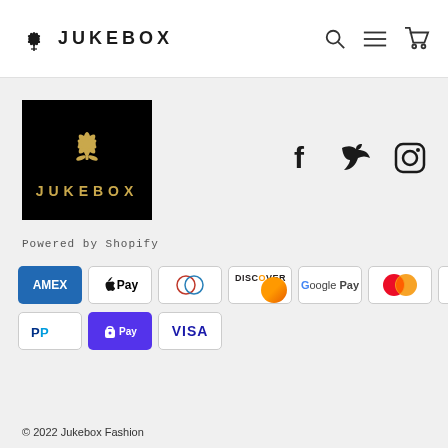JUKEBOX
[Figure (logo): Jukebox Fashion brand logo — black background with gold ornamental emblem and JUKEBOX text in gold]
[Figure (infographic): Social media icons: Facebook, Twitter, Instagram]
Powered by Shopify
[Figure (infographic): Payment method badges: American Express, Apple Pay, Diners Club, Discover, Google Pay, Mastercard (x2), PayPal, Shop Pay, Visa]
© 2022 Jukebox Fashion